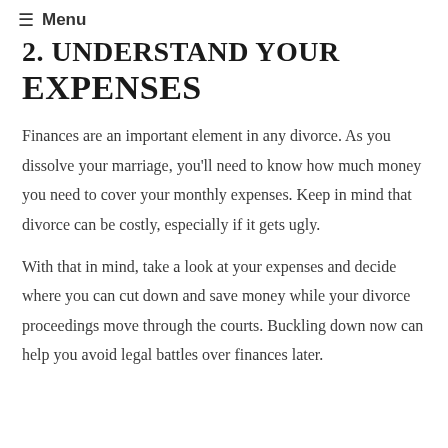≡ Menu
2. UNDERSTAND YOUR EXPENSES
Finances are an important element in any divorce. As you dissolve your marriage, you'll need to know how much money you need to cover your monthly expenses. Keep in mind that divorce can be costly, especially if it gets ugly.
With that in mind, take a look at your expenses and decide where you can cut down and save money while your divorce proceedings move through the courts. Buckling down now can help you avoid legal battles over finances later.